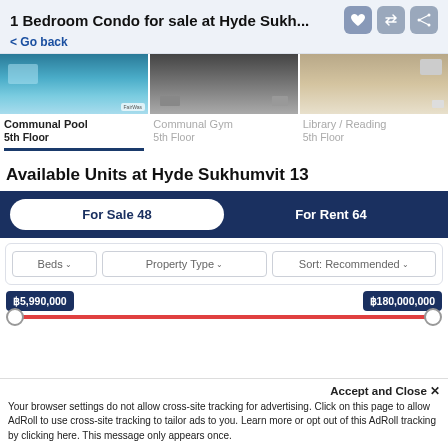1 Bedroom Condo for sale at Hyde Sukh...
< Go back
[Figure (photo): Three facility photos: Communal Pool, Communal Gym, Library/Reading room]
Communal Pool
5th Floor
Communal Gym
5th Floor
Library / Reading
5th Floor
Available Units at Hyde Sukhumvit 13
For Sale 48
For Rent 64
Beds  Property Type  Sort: Recommended
฿5,990,000  ฿180,000,000
Accept and Close ×
Your browser settings do not allow cross-site tracking for advertising. Click on this page to allow AdRoll to use cross-site tracking to tailor ads to you. Learn more or opt out of this AdRoll tracking by clicking here. This message only appears once.